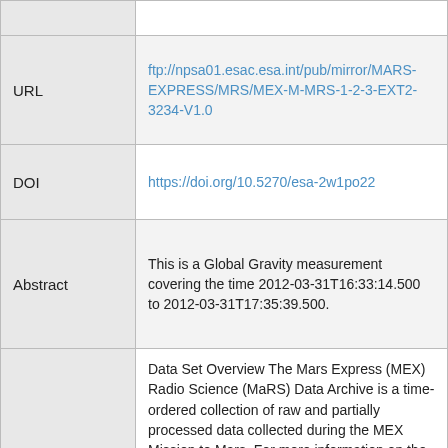| Field | Value |
| --- | --- |
| URL | ftp://npsa01.esac.esa.int/pub/mirror/MARS-EXPRESS/MRS/MEX-M-MRS-1-2-3-EXT2-3234-V1.0 |
| DOI | https://doi.org/10.5270/esa-2w1po22 |
| Abstract | This is a Global Gravity measurement covering the time 2012-03-31T16:33:14.500 to 2012-03-31T17:35:39.500. |
|  | Data Set Overview The Mars Express (MEX) Radio Science (MaRS) Data Archive is a time-ordered collection of raw and partially processed data collected during the MEX Mission to Mars. For more information on the investigations proposed see the MaRS User Manual [MARSUSERMANUAL2004] in the MaRS DOCUMENT/MRS_DOC folder. This is a Global Gravity measurement covering the time 2012-03-31T16:33:14.500 to 2012-03-31T17:35:39.500. This data set was collected during the MEX |